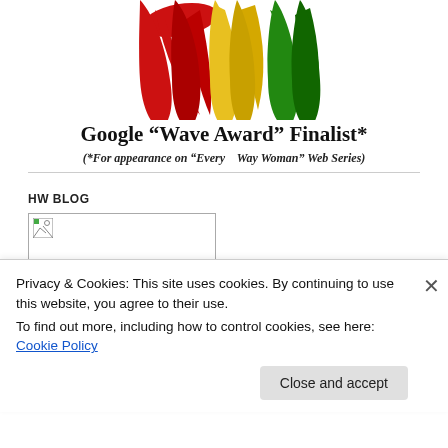[Figure (illustration): Google Wave Award logo with red, yellow, and green teardrop/flame shapes at the top]
Google “Wave Award” Finalist*
(*For appearance on “Every Way Woman” Web Series)
HW BLOG
[Figure (photo): Broken image placeholder in a rectangular box]
Privacy & Cookies: This site uses cookies. By continuing to use this website, you agree to their use.
To find out more, including how to control cookies, see here: Cookie Policy
Close and accept